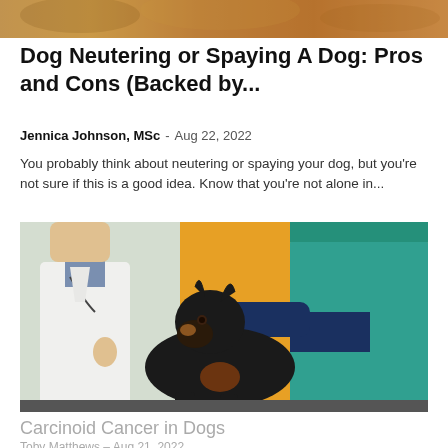[Figure (photo): Partial view of an animal or pet at the top of the page, showing warm orange/tan tones]
Dog Neutering or Spaying A Dog: Pros and Cons (Backed by...
Jennica Johnson, MSc  -  Aug 22, 2022
You probably think about neutering or spaying your dog, but you're not sure if this is a good idea. Know that you're not alone in...
[Figure (photo): A black Doberman dog sitting on an examination table at a veterinary clinic, with a person in a white lab coat on the left and a person in a teal/green top examining the dog on the right]
Carcinoid Cancer in Dogs
Toby Matthews  -  Aug 21, 2022